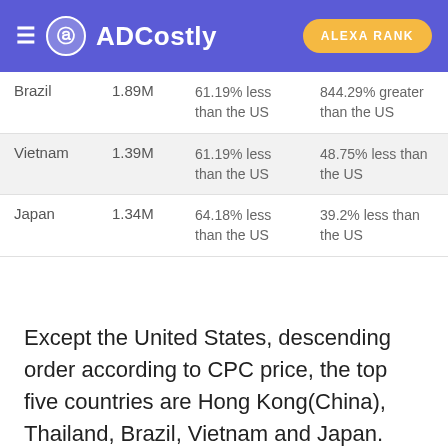ADCostly | ALEXA RANK
| Country | Value | CPC comparison | CPM comparison |
| --- | --- | --- | --- |
| Brazil | 1.89M | 61.19% less than the US | 844.29% greater than the US |
| Vietnam | 1.39M | 61.19% less than the US | 48.75% less than the US |
| Japan | 1.34M | 64.18% less than the US | 39.2% less than the US |
Except the United States, descending order according to CPC price, the top five countries are Hong Kong(China), Thailand, Brazil, Vietnam and Japan. Hong Kong(China) has the highest CPC, Its CPC 10.45% less than the US and